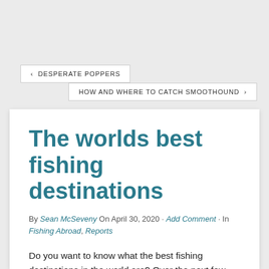< DESPERATE POPPERS
HOW AND WHERE TO CATCH SMOOTHOUND >
The worlds best fishing destinations
By Sean McSeveny On April 30, 2020 · Add Comment · In Fishing Abroad, Reports
Do you want to know what the best fishing destinations in the world are? Over the next few months we will be looking at some of the best fishing on the planet. Some of these I have fished myself, others are written